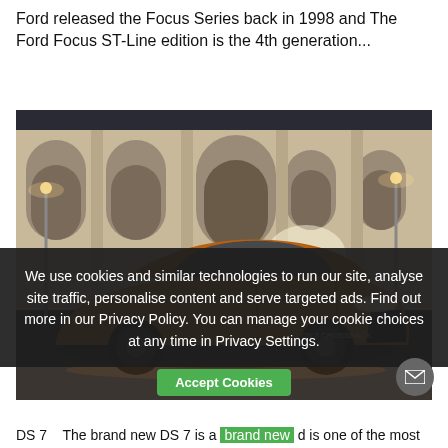Ford released the Focus Series back in 1998 and The Ford Focus ST-Line edition is the 4th generation...
[Figure (photo): An orange/gold DS 7 Crossback SUV parked in front of a grand classical building at night, with street lights in the background.]
We use cookies and similar technologies to run our site, analyse site traffic, personalise content and serve targeted ads. Find out more in our Privacy Policy. You can manage your cookie choices at any time in Privacy Settings.
DS 7
The brand new DS 7 is a brand new d is one of the most